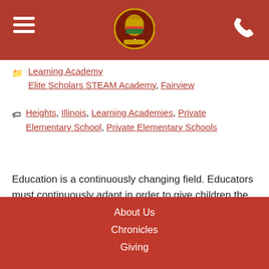Navigation header with hamburger menu, school logo, and phone icon
Category: Learning Academy — Elite Scholars STEAM Academy, Fairview
Tags: Heights, Illinois, Learning Academies, Private Elementary School, Private Elementary Schools
Education is a continuously changing field. Educators must continuously adapt in order to give children the best educational foundation for the rest of their lives. There is always a need for modernized teaching techniques to keep children interested, while fostering their love for learning. The right teaching techniques will help children become innovative thinkers that will later solve the most … Read More
About Us | Chronicles | Giving